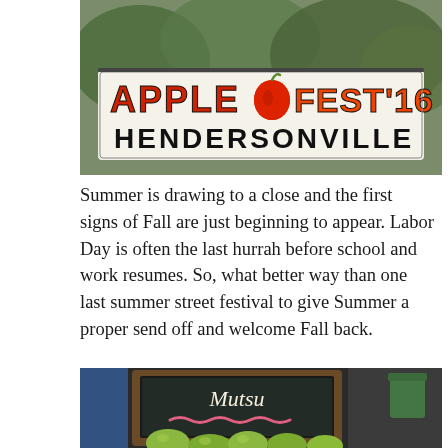[Figure (photo): Apple Fest '16 Hendersonville sign — colorful hand-drawn lettering on a white sign with 'APPLE FEST 16' in red/green/yellow and 'HENDERSONVILLE' in bold black letters below, with trees visible in background.]
Summer is drawing to a close and the first signs of Fall are just beginning to appear. Labor Day is often the last hurrah before school and work resumes. So, what better way than one last summer street festival to give Summer a proper send off and welcome Fall back.
[Figure (photo): A chalkboard sign reading 'Mutsu' with a pink chalk squiggle underneath, framed in rustic wood, with green Mutsu apples displayed in front and a person in a blue jacket visible on the left, and a green cup on the right.]